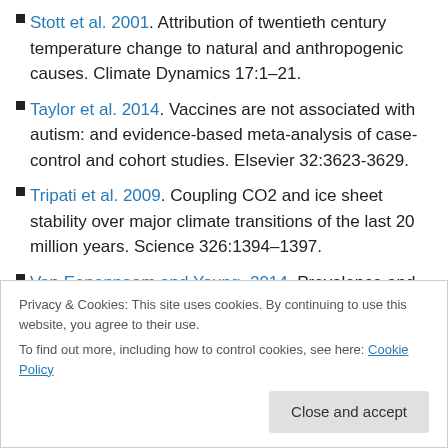Stott et al. 2001. Attribution of twentieth century temperature change to natural and anthropogenic causes. Climate Dynamics 17:1–21.
Taylor et al. 2014. Vaccines are not associated with autism: and evidence-based meta-analysis of case-control and cohort studies. Elsevier 32:3623-3629.
Tripati et al. 2009. Coupling CO2 and ice sheet stability over major climate transitions of the last 20 million years. Science 326:1394–1397.
Van Eenennaam and Young. 2014. Prevalence and impacts of genetically engineered feedstuffs on vaccine 25:330–340.
Privacy & Cookies: This site uses cookies. By continuing to use this website, you agree to their use. To find out more, including how to control cookies, see here: Cookie Policy
Close and accept